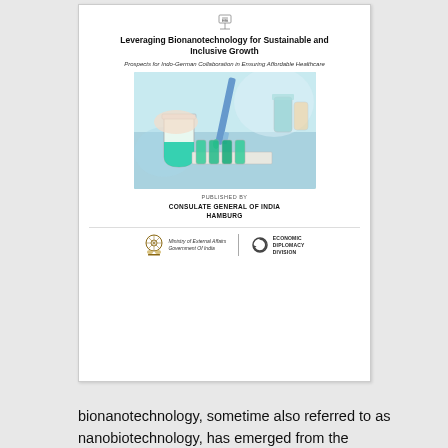[Figure (illustration): Cover page of a report titled 'Leveraging Bionanotechnology for Sustainable and Inclusive Growth' with subtitle 'Prospects for Indo-German Collaboration in Ensuring Affordable Healthcare', published by Consulate General of India, Hamburg. Features a laboratory photo showing hands working with pipettes and flasks with green liquid, and logos of Ministry of External Affairs Government of India and Economic Diplomacy Division.]
bionanotechnology, sometime also referred to as nanobiotechnology, has emerged from the intersection of nanotechnology and biotechnology. Today, it constitutes one of the fastest growing research fields due to its enormous potential. A particularly promising area of application for bionanotechnology is Life Sciences or